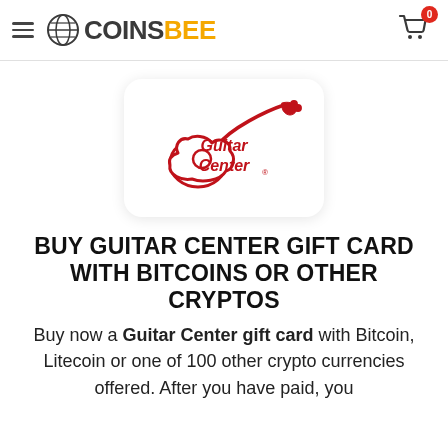COINSBEE
[Figure (logo): Guitar Center logo — red guitar outline with 'Guitar Center' text in red script inside]
BUY GUITAR CENTER GIFT CARD WITH BITCOINS OR OTHER CRYPTOS
Buy now a Guitar Center gift card with Bitcoin, Litecoin or one of 100 other crypto currencies offered. After you have paid, you